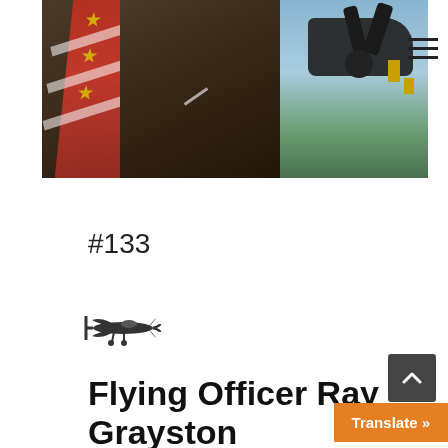[Figure (photo): Cropped photograph showing a person in a brown jacket with a red and white striped tie with gold emblems, and a dark military aircraft with propellers visible in the background against a blue sky]
#133
[Figure (illustration): Small black silhouette icon of a Spitfire-style propeller aircraft]
Flying Officer Ray Grayston
Translate »